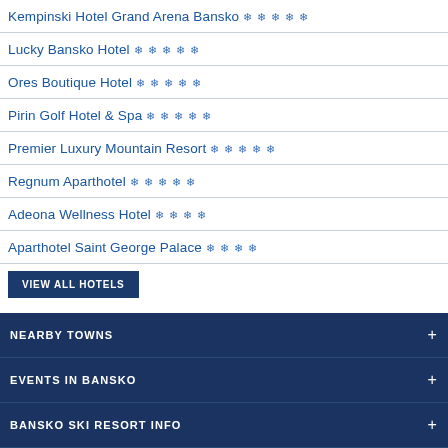Kempinski Hotel Grand Arena Bansko ✳✳✳✳✳
Lucky Bansko Hotel ✳✳✳✳✳
Ores Boutique Hotel ✳✳✳✳✳
Pirin Golf Hotel & Spa ✳✳✳✳✳
Premier Luxury Mountain Resort ✳✳✳✳✳
Regnum Aparthotel ✳✳✳✳✳
Adeona Wellness Hotel ✳✳✳✳
Aparthotel Saint George Palace ✳✳✳✳
VIEW ALL HOTELS
NEARBY TOWNS
EVENTS IN BANSKO
BANSKO SKI RESORT INFO